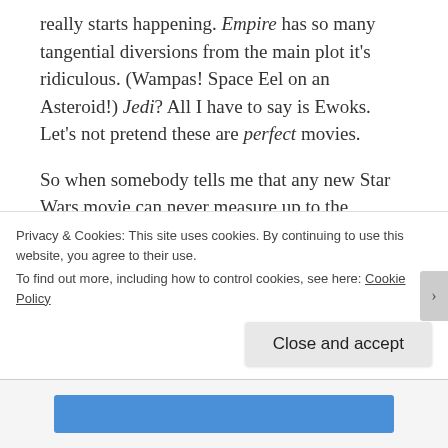really starts happening. Empire has so many tangential diversions from the main plot it's ridiculous. (Wampas! Space Eel on an Asteroid!) Jedi? All I have to say is Ewoks. Let's not pretend these are perfect movies.

So when somebody tells me that any new Star Wars movie can never measure up to the originals … meh, that's maybe not a bad thing.

Anyway, enough about Star Wars. (As if such a thing were possible.) We locked down and there are signs...
Privacy & Cookies: This site uses cookies. By continuing to use this website, you agree to their use.
To find out more, including how to control cookies, see here: Cookie Policy